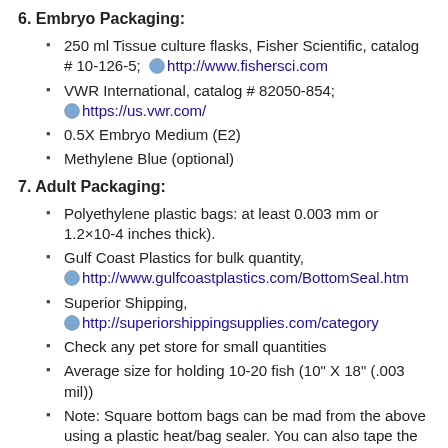6. Embryo Packaging:
250 ml Tissue culture flasks, Fisher Scientific, catalog # 10-126-5; http://www.fishersci.com
VWR International, catalog # 82050-854; https://us.vwr.com/
0.5X Embryo Medium (E2)
Methylene Blue (optional)
7. Adult Packaging:
Polyethylene plastic bags: at least 0.003 mm or 1.2×10-4 inches thick).
Gulf Coast Plastics for bulk quantity, http://www.gulfcoastplastics.com/BottomSeal.htm
Superior Shipping, http://superiorshippingsupplies.com/category
Check any pet store for small quantities
Average size for holding 10-20 fish (10" X 18" (.003 mil))
Note: Square bottom bags can be mad from the above using a plastic heat/bag sealer. You can also tape the corners of the bag to create square bottom.
Pure oxygen (not required, recommended)
Rubber bands, plastic ties, or metal clips